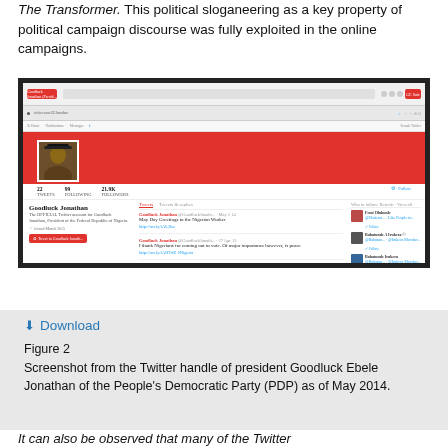The Transformer. This political sloganeering as a key property of political campaign discourse was fully exploited in the online campaigns.
[Figure (screenshot): Screenshot from the Twitter handle of president Goodluck Jonathan showing tweets including 'May Day Greetings to the Nigerian Worker' and 'I thank Nigerians for coming out to vote', with a red header and profile photo.]
Figure 2
Screenshot from the Twitter handle of president Goodluck Ebele Jonathan of the People's Democratic Party (PDP) as of May 2014.
It can also be observed that many of the Twitter